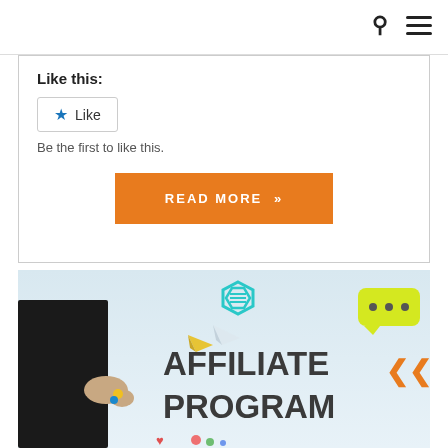Like this:
Like
Be the first to like this.
READ MORE »
[Figure (illustration): Affiliate Program promotional banner showing a person in a suit drawing on a board with the text 'AFFILIATE PROGRAM' in large bold letters, a hexagonal logo at top center, paper planes, chat bubble with dots, and colorful icons.]